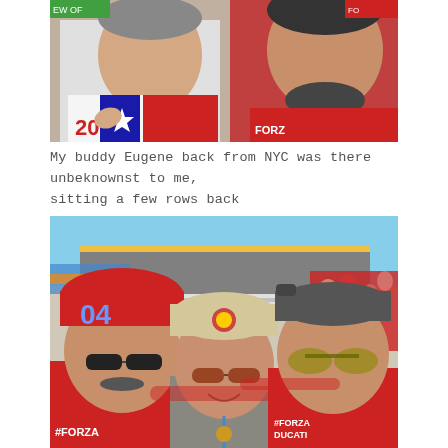[Figure (photo): Two men taking a selfie at a motorsport event. The man on the left wears a USA flag-themed shirt with a star design, the man on the right wears a red shirt. Crowd visible in background.]
My buddy Eugene back from NYC was there unbeknownst to me, sitting a few rows back
[Figure (photo): Three men posing together at a motorsport race track. The man on the left wears a red 04 cap and sunglasses with a mustache. The man in the middle wears a beige cap and sunglasses with a lanyard. The man on the right wears a backwards grey cap and aviator sunglasses, wearing a red #FORZA DUCATI shirt. Race track and spectators visible in background.]